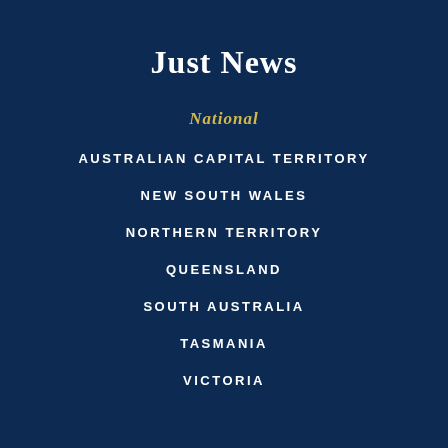Just News
National
AUSTRALIAN CAPITAL TERRITORY
NEW SOUTH WALES
NORTHERN TERRITORY
QUEENSLAND
SOUTH AUSTRALIA
TASMANIA
VICTORIA